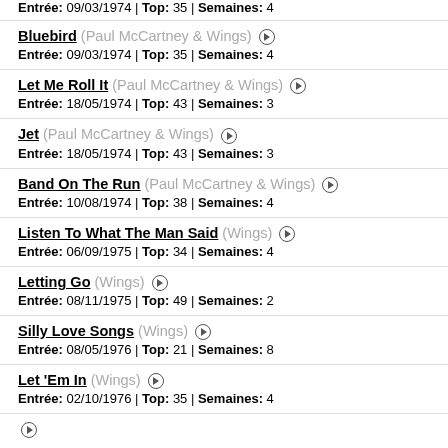Entrée: 09/03/1974 | Top: 35 | Semaines: 4
Bluebird (Paul McCartney & Wings) — Entrée: 09/03/1974 | Top: 35 | Semaines: 4
Let Me Roll It (Paul McCartney & Wings) — Entrée: 18/05/1974 | Top: 43 | Semaines: 3
Jet (Paul McCartney & Wings) — Entrée: 18/05/1974 | Top: 43 | Semaines: 3
Band On The Run (Paul McCartney & Wings) — Entrée: 10/08/1974 | Top: 38 | Semaines: 4
Listen To What The Man Said (Wings) — Entrée: 06/09/1975 | Top: 34 | Semaines: 4
Letting Go (Wings) — Entrée: 08/11/1975 | Top: 49 | Semaines: 2
Silly Love Songs (Wings) — Entrée: 08/05/1976 | Top: 21 | Semaines: 8
Let 'Em In (Wings) — Entrée: 02/10/1976 | Top: 35 | Semaines: 4